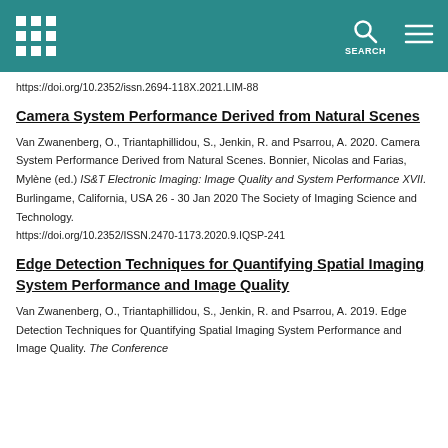SEARCH
https://doi.org/10.2352/issn.2694-118X.2021.LIM-88
Camera System Performance Derived from Natural Scenes
Van Zwanenberg, O., Triantaphillidou, S., Jenkin, R. and Psarrou, A. 2020. Camera System Performance Derived from Natural Scenes. Bonnier, Nicolas and Farias, Mylène (ed.) IS&T Electronic Imaging: Image Quality and System Performance XVII. Burlingame, California, USA 26 - 30 Jan 2020 The Society of Imaging Science and Technology.
https://doi.org/10.2352/ISSN.2470-1173.2020.9.IQSP-241
Edge Detection Techniques for Quantifying Spatial Imaging System Performance and Image Quality
Van Zwanenberg, O., Triantaphillidou, S., Jenkin, R. and Psarrou, A. 2019. Edge Detection Techniques for Quantifying Spatial Imaging System Performance and Image Quality. The Conference